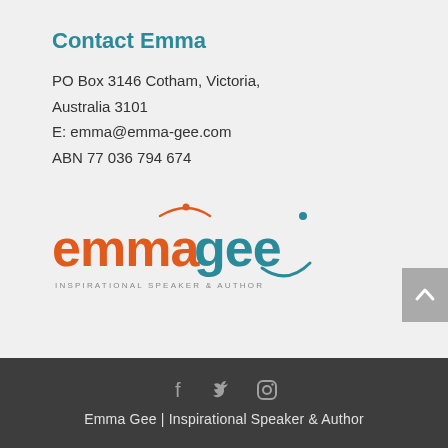Contact Emma
PO Box 3146 Cotham, Victoria,
Australia 3101
E: emma@emma-gee.com
ABN 77 036 794 674
[Figure (logo): Emma Gee Inspirational Speaker & Author logo — 'emma' in orange, 'gee' in teal with a smiley face, tagline 'INSPIRATIONAL SPEAKER & AUTHOR' below]
Emma Gee | Inspirational Speaker & Author